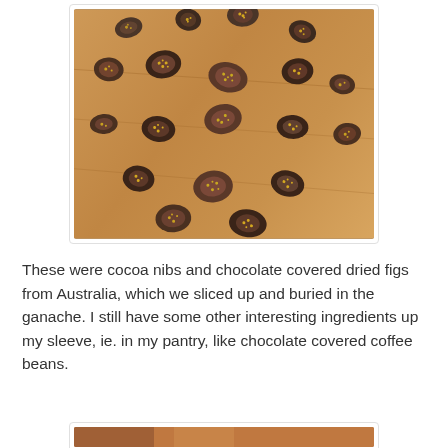[Figure (photo): Chocolate and cocoa nib covered dried fig pieces sliced open and scattered on a wooden cutting board, showing golden seeds inside dark chocolate coating.]
These were cocoa nibs and chocolate covered dried figs from Australia, which we sliced up and buried in the ganache. I still have some other interesting ingredients up my sleeve, ie. in my pantry, like chocolate covered coffee beans.
[Figure (photo): Partial view of another food photo at the bottom of the page.]